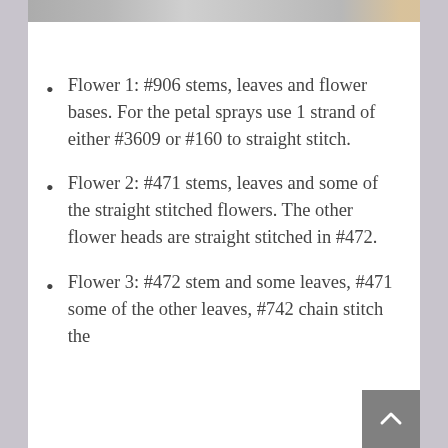[Figure (photo): Top strip showing a partial image, appears to be a decorative or craft-related photo strip at the top of the page.]
Flower 1: #906 stems, leaves and flower bases. For the petal sprays use 1 strand of either #3609 or #160 to straight stitch.
Flower 2: #471 stems, leaves and some of the straight stitched flowers. The other flower heads are straight stitched in #472.
Flower 3: #472 stem and some leaves, #471 some of the other leaves, #742 chain stitch the